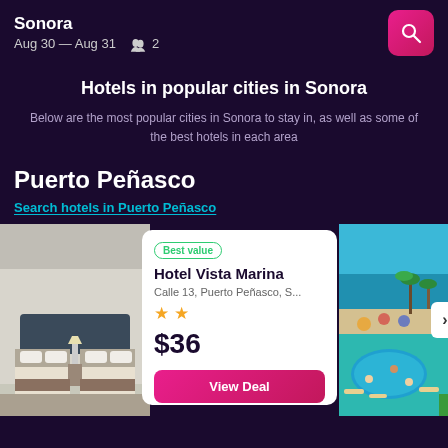Sonora | Aug 30 — Aug 31  👥 2
Hotels in popular cities in Sonora
Below are the most popular cities in Sonora to stay in, as well as some of the best hotels in each area
Puerto Peñasco
Search hotels in Puerto Peñasco
[Figure (photo): Hotel room interior with two beds and ceiling fan]
Best value
Hotel Vista Marina
Calle 13, Puerto Peñasco, S...
★★
$36
View Deal
[Figure (photo): Aerial view of hotel pool and beach with palm trees]